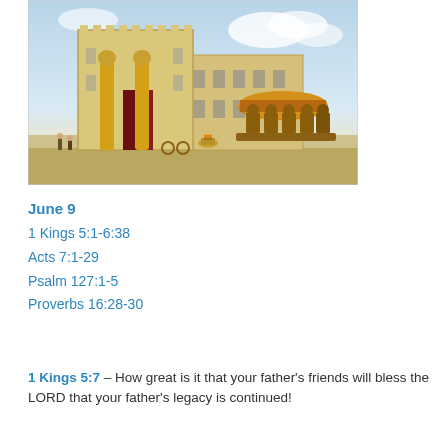[Figure (illustration): Artistic rendering of Solomon's Temple with golden pillars, large bronze sea supported by oxen, and people in the courtyard under a blue sky.]
June 9
1 Kings 5:1-6:38
Acts 7:1-29
Psalm 127:1-5
Proverbs 16:28-30
1 Kings 5:7 – How great is it that your father's friends will bless the LORD that your father's legacy is continued!